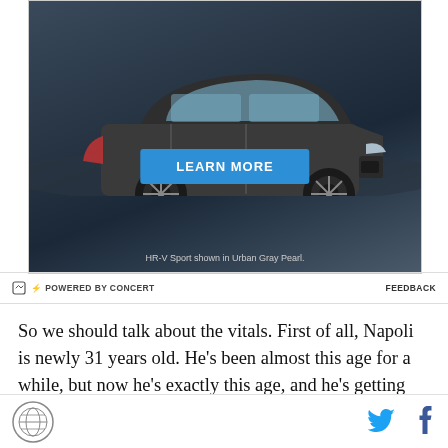[Figure (photo): Advertisement banner showing a dark gray Honda HR-V Sport SUV on a dark road background with a blue 'LEARN MORE' button and tagline 'HR-V Sport shown in Urban Gray Pearl.']
POWERED BY CONCERT   FEEDBACK
So we should talk about the vitals. First of all, Napoli is newly 31 years old. He's been almost this age for a while, but now he's exactly this age, and he's getting older literally every minute of every day. He's rumored
[Figure (logo): Site logo circular badge and social media icons (Twitter bird and Facebook f)]